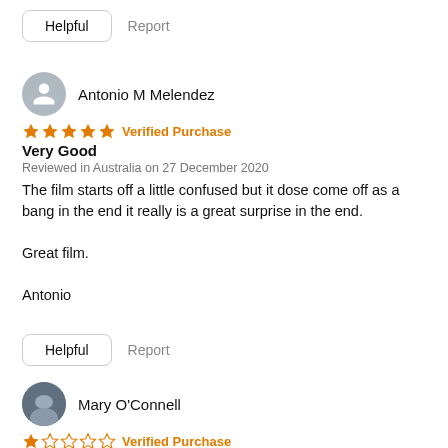Helpful   Report
Antonio M Melendez
★★★★★ Verified Purchase
Very Good
Reviewed in Australia on 27 December 2020
The film starts off a little confused but it dose come off as a bang in the end it really is a great surprise in the end.

Great film.

Antonio
Helpful   Report
Mary O'Connell
★☆☆☆☆ Verified Purchase
Knives out